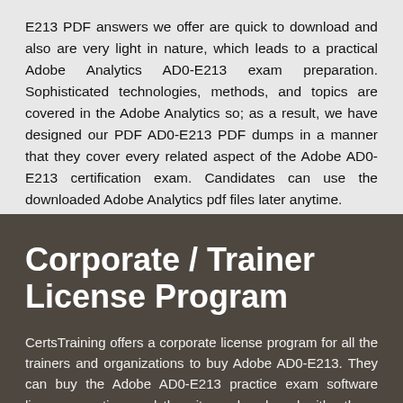E213 PDF answers we offer are quick to download and also are very light in nature, which leads to a practical Adobe Analytics AD0-E213 exam preparation. Sophisticated technologies, methods, and topics are covered in the Adobe Analytics so; as a result, we have designed our PDF AD0-E213 PDF dumps in a manner that they cover every related aspect of the Adobe AD0-E213 certification exam. Candidates can use the downloaded Adobe Analytics pdf files later anytime.
Corporate / Trainer License Program
CertsTraining offers a corporate license program for all the trainers and organizations to buy Adobe AD0-E213. They can buy the Adobe AD0-E213 practice exam software license one time and then it can be shared with others. The trainers who purchase this license program are allowed to